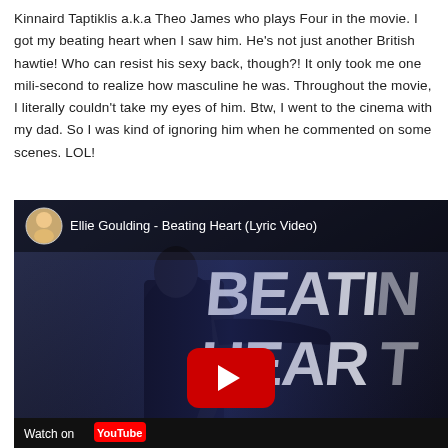Kinnaird Taptiklis a.k.a Theo James who plays Four in the movie. I got my beating heart when I saw him. He's not just another British hawtie! Who can resist his sexy back, though?! It only took me one mili-second to realize how masculine he was. Throughout the movie, I literally couldn't take my eyes of him. Btw, I went to the cinema with my dad. So I was kind of ignoring him when he commented on some scenes. LOL!
[Figure (screenshot): YouTube video thumbnail screenshot for 'Ellie Goulding - Beating Heart (Lyric Video)' showing a person in black clothing with large white text reading BEATING HEART in background, with a red YouTube play button overlay. Watch on YouTube bar at bottom.]